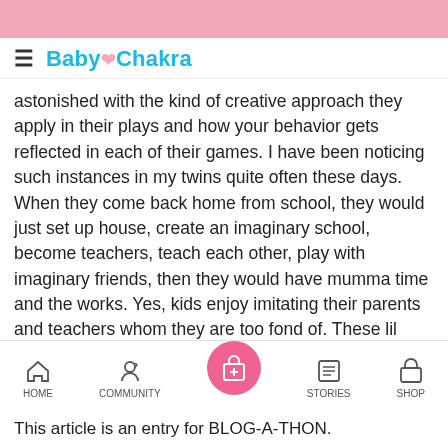[Figure (other): Pink decorative bar at top of mobile app screen]
≡ BabyChakra
astonished with the kind of creative approach they apply in their plays and how your behavior gets reflected in each of their games. I have been noticing such instances in my twins quite often these days. When they come back home from school, they would just set up house, create an imaginary school, become teachers, teach each other, play with imaginary friends, then they would have mumma time and the works. Yes, kids enjoy imitating their parents and teachers whom they are too fond of. These lil munchkins behold huge potential and I am sure they are capable enou carry on the academic burden later on, but today they need their own free space because this they wouldn't  get in future. Then there would just be regret and no free time!
HOME  COMMUNITY  [gift icon]  STORIES  SHOP
This article is an entry for BLOG-A-THON.